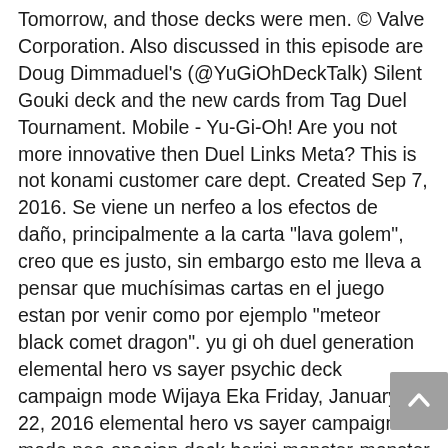Tomorrow, and those decks were men. © Valve Corporation. Also discussed in this episode are Doug Dimmaduel's (@YuGiOhDeckTalk) Silent Gouki deck and the new cards from Tag Duel Tournament. Mobile - Yu-Gi-Oh! Are you not more innovative then Duel Links Meta? This is not konami customer care dept. Created Sep 7, 2016. Se viene un nerfeo a los efectos de daño, principalmente a la carta "lava golem", creo que es justo, sin embargo esto me lleva a pensar que muchísimas cartas en el juego estan por venir como por ejemplo "meteor black comet dragon". yu gi oh duel generation elemental hero vs sayer psychic deck campaign mode Wijaya Eka Friday, January 22, 2016 elemental hero vs sayer campaign mode neo-spacian deck berisi monster-monster yang di summon secara fusion. Nice. So we're not sure if it might get its "real" effect (from the OCG) or if it keeps its current effect. Close. Attribute: Fire. Starting from the October 14 2020 banlist, some cards were banned, which means you can't use them in duels. Lava Golem from Structure Deck: Marik for . DD Sprite is an easy to summon tuner. Duel Links > General Discussions > Topic Details. Lava Golem was ruining the game for me. Lava Golem have always been a great alternative for F2P